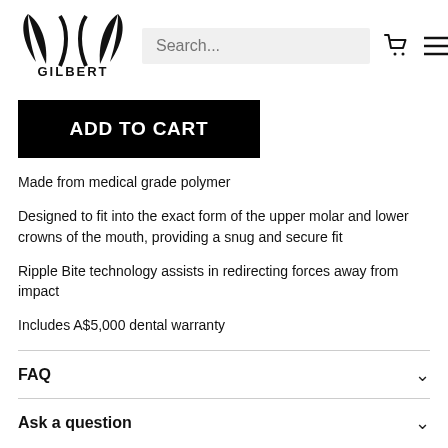[Figure (logo): Gilbert rugby brand logo — stylized arc/wing shapes above the word GILBERT in bold capitals]
Search...
ADD TO CART
Made from medical grade polymer
Designed to fit into the exact form of the upper molar and lower crowns of the mouth, providing a snug and secure fit
Ripple Bite technology assists in redirecting forces away from impact
Includes A$5,000 dental warranty
FAQ
Ask a question